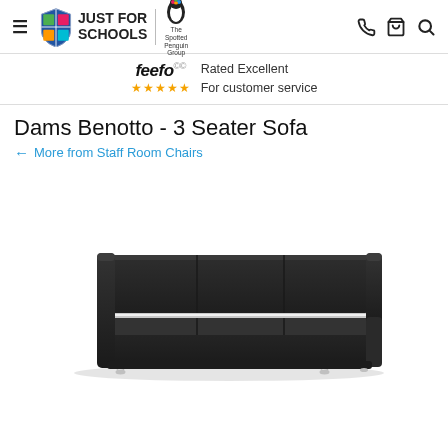Just For Schools | The Spotted Penguin Group
feefo — Rated Excellent For customer service
Dams Benotto - 3 Seater Sofa
More from Staff Room Chairs
[Figure (photo): A black leather 3-seater sofa with chrome legs and a modern design, shown against a white background. The sofa has a contemporary style with a low back, two armrests, and three seat cushions divided by visible seams.]